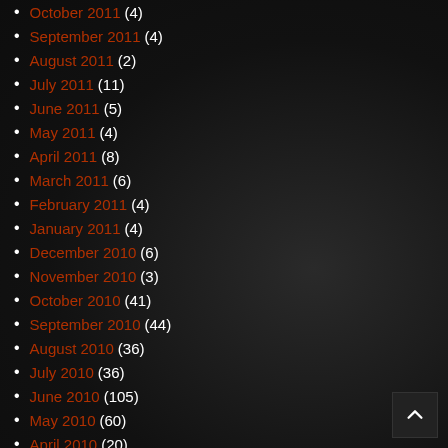October 2011 (4)
September 2011 (4)
August 2011 (2)
July 2011 (11)
June 2011 (5)
May 2011 (4)
April 2011 (8)
March 2011 (6)
February 2011 (4)
January 2011 (4)
December 2010 (6)
November 2010 (3)
October 2010 (41)
September 2010 (44)
August 2010 (36)
July 2010 (36)
June 2010 (105)
May 2010 (60)
April 2010 (20)
March 2010 (46)
February 2010 (42)